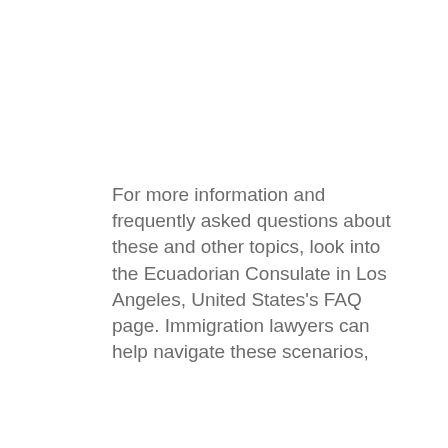For more information and frequently asked questions about these and other topics, look into the Ecuadorian Consulate in Los Angeles, United States's FAQ page. Immigration lawyers can help navigate these scenarios,